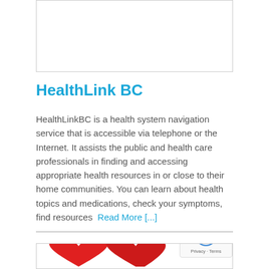[Figure (other): Top white box with border, partially visible at top of page]
HealthLink BC
HealthLinkBC is a health system navigation service that is accessible via telephone or the Internet. It assists the public and health care professionals in finding and accessing appropriate health resources in or close to their home communities. You can learn about health topics and medications, check your symptoms, find resources  Read More [...]
[Figure (other): Bottom box with red heart illustration partially visible and reCAPTCHA badge in corner]